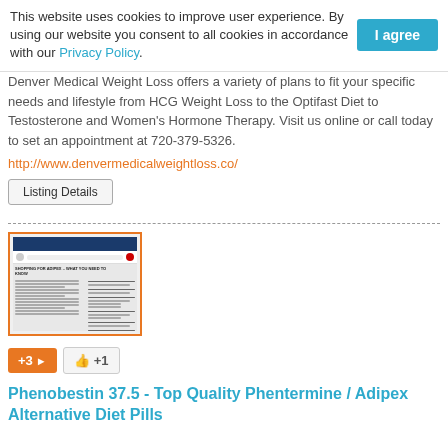This website uses cookies to improve user experience. By using our website you consent to all cookies in accordance with our Privacy Policy.  I agree
Denver Medical Weight Loss offers a variety of plans to fit your specific needs and lifestyle from HCG Weight Loss to the Optifast Diet to Testosterone and Women's Hormone Therapy. Visit us online or call today to set an appointment at 720-379-5326.
http://www.denvermedicalweightloss.co/
Listing Details
[Figure (screenshot): Thumbnail screenshot of a webpage titled 'SHOPPING FOR ADIPEX - WHAT YOU NEED TO KNOW' with body text in two columns, surrounded by an orange border.]
+3  👍 +1
Phenobestin 37.5 - Top Quality Phentermine / Adipex Alternative Diet Pills